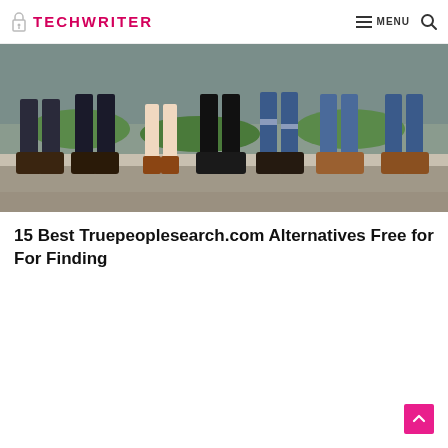TECHWRITER — MENU (navigation header with logo, menu button, and search icon)
[Figure (photo): A row of people standing side by side showing only their legs and feet from the knee down, wearing various shoes including boots, sneakers, and sandals, standing on a concrete ledge outdoors.]
15 Best Truepeoplesearch.com Alternatives Free for For Finding